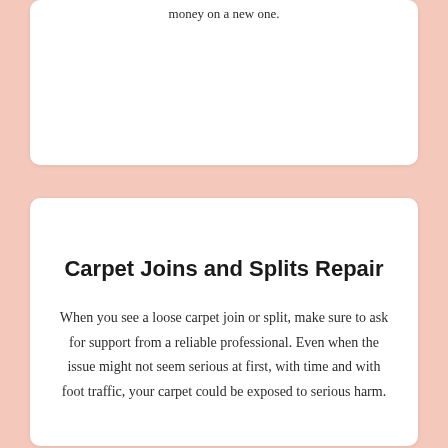money on a new one.
Carpet Joins and Splits Repair
When you see a loose carpet join or split, make sure to ask for support from a reliable professional. Even when the issue might not seem serious at first, with time and with foot traffic, your carpet could be exposed to serious harm.